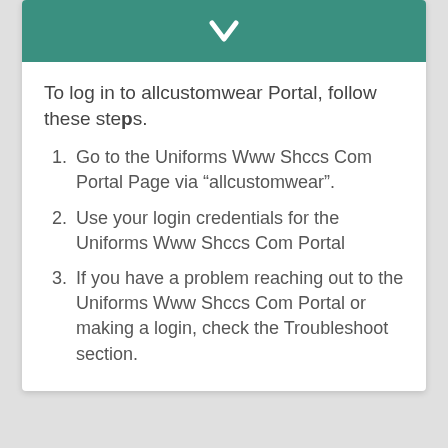[Figure (other): Teal header bar with a downward-pointing white chevron/arrow icon]
To log in to allcustomwear Portal, follow these steps.
Go to the Uniforms Www Shccs Com Portal Page via “allcustomwear”.
Use your login credentials for the Uniforms Www Shccs Com Portal
If you have a problem reaching out to the Uniforms Www Shccs Com Portal or making a login, check the Troubleshoot section.